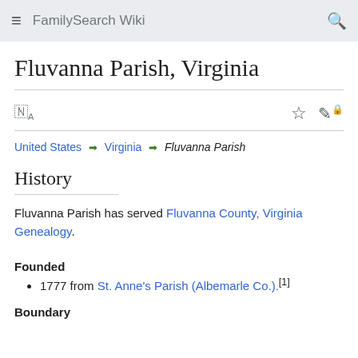FamilySearch Wiki
Fluvanna Parish, Virginia
United States ❯ Virginia ❯ Fluvanna Parish
History
Fluvanna Parish has served Fluvanna County, Virginia Genealogy.
Founded
1777 from St. Anne's Parish (Albemarle Co.).[1]
Boundary